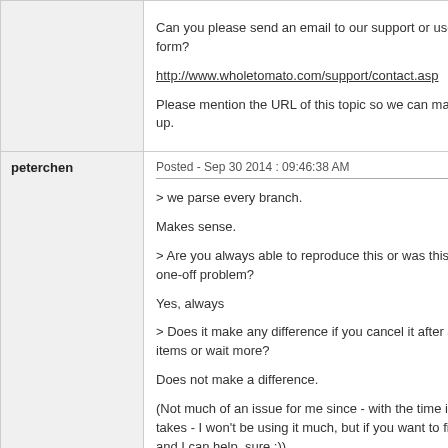| User | Post |
| --- | --- |
|  | Can you please send an email to our support or use this form?

http://www.wholetomato.com/support/contact.asp

Please mention the URL of this topic so we can match it up. |
| peterchen | Posted - Sep 30 2014 : 09:46:38 AM

> we parse every branch.

Makes sense.

> Are you always able to reproduce this or was this a one-off problem?

Yes, always

> Does it make any difference if you cancel it after a few items or wait more?

Does not make a difference.

(Not much of an issue for me since - with the time it takes - I won't be using it much, but if you want to fix it and I can help, sure :)) |
| accord | Posted - Sep 22 2014 : 9:28:46 PM |